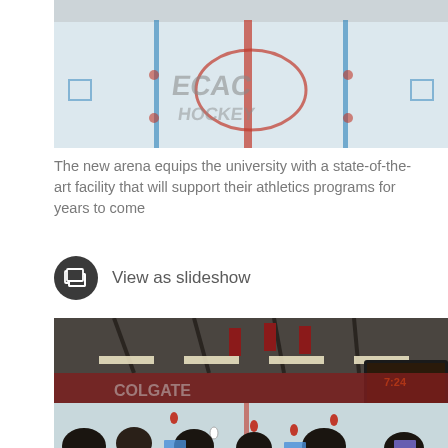[Figure (photo): Aerial/wide view of an ice hockey rink with ECAC Hockey branding on the ice surface, showing the center ice logo and red line markings]
The new arena equips the university with a state-of-the-art facility that will support their athletics programs for years to come
View as slideshow
[Figure (photo): Interior view of Colgate University hockey arena during a game, showing spectators in the press box area watching the ice, with large scoreboard, NCAA championship banners hanging from the ceiling, and players on the ice]